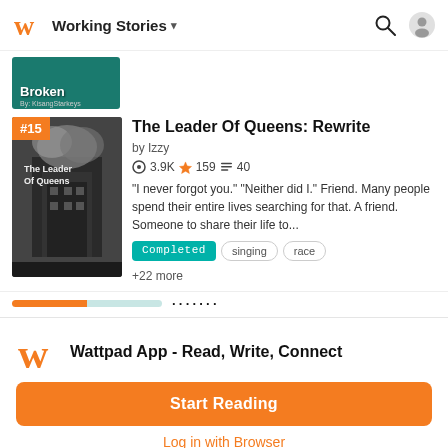Working Stories
[Figure (screenshot): Partial book cover for 'Broken' by KisangStarkeys with teal background]
[Figure (photo): Black and white photo of a city building with smoke, book cover for The Leader Of Queens: Rewrite, ranked #15]
The Leader Of Queens: Rewrite
by Izzy
3.9K ★ 159 ≡ 40
"I never forgot you." "Neither did I." Friend. Many people spend their entire lives searching for that. A friend. Someone to share their life to...
Completed
singing
race
+22 more
Wattpad App - Read, Write, Connect
Start Reading
Log in with Browser